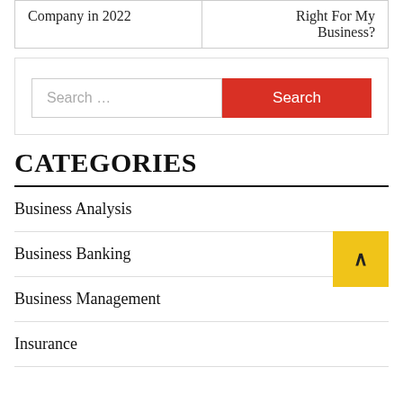|  |  |
| --- | --- |
| Company in 2022 | Right For My Business? |
Search …
CATEGORIES
Business Analysis
Business Banking
Business Management
Insurance